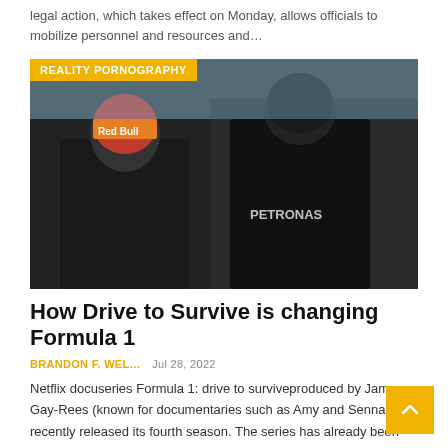legal action, which takes effect on Monday, allows officials to mobilize personnel and resources and…
[Figure (photo): Two Formula 1 drivers in racing suits — Red Bull and Mercedes — standing side by side. Category badge reads REALITY PORNOGRAPHY.]
How Drive to Survive is changing Formula 1
BRANDON F. WEL…   Jul 28, 2022
Netflix docuseries Formula 1: drive to surviveproduced by James Gay-Rees (known for documentaries such as Amy and Senna), recently released its fourth season. The series has already been renewed not only for the fifth but also for the…
[Figure (illustration): Manga/anime style black and white illustration of a character with speech bubbles reading 'NEAR YOU...' and 'THE ONE WHO LET ME OUT?' Category badge reads HENTAI.]